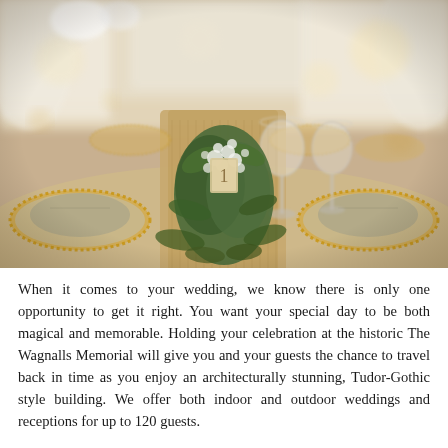[Figure (photo): A wedding reception table setting with burlap table runner, greenery floral arrangement with table number 1, crystal glassware, grey linen napkins on gold beaded charger plates, warm bokeh background with draped curtains and windows.]
When it comes to your wedding, we know there is only one opportunity to get it right. You want your special day to be both magical and memorable. Holding your celebration at the historic The Wagnalls Memorial will give you and your guests the chance to travel back in time as you enjoy an architecturally stunning, Tudor-Gothic style building. We offer both indoor and outdoor weddings and receptions for up to 120 guests.